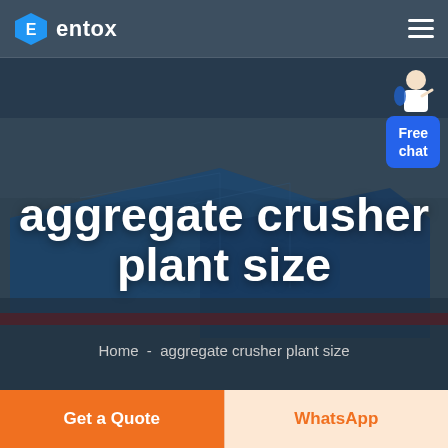entox
[Figure (photo): Aerial/3D render of an industrial manufacturing facility with large blue-roofed warehouse buildings, viewed from above at an angle. Dark overlay applied. Text overlay reads 'aggregate crusher plant size' and breadcrumb 'Home - aggregate crusher plant size'.]
aggregate crusher plant size
Home  -  aggregate crusher plant size
Free chat
Get a Quote
WhatsApp